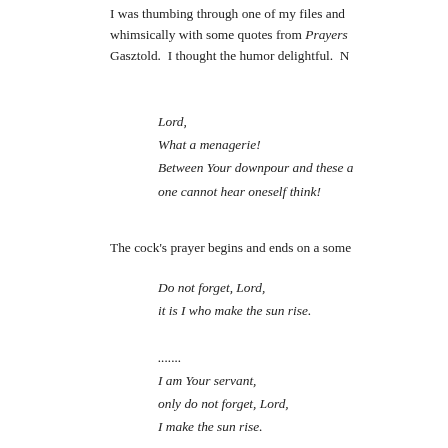I was thumbing through one of my files and whimsically with some quotes from Prayers Gasztold.  I thought the humor delightful.  N
Lord,
What a menagerie!
Between Your downpour and these a
one cannot hear oneself think!
The cock's prayer begins and ends on a some
Do not forget, Lord,
it is I who make the sun rise.

.......
I am Your servant,
only do not forget, Lord,
I make the sun rise.
Continue reading "PRAYERS FROM THE A
Tuesday, 16 June 2009 in Children, Humor | Permalink
THE POLITICAL LEFT'S ROMANCE W
- (Original Post) -Cliff May wrote an excelle
Jamie Glazov's new book, United in Hate: T